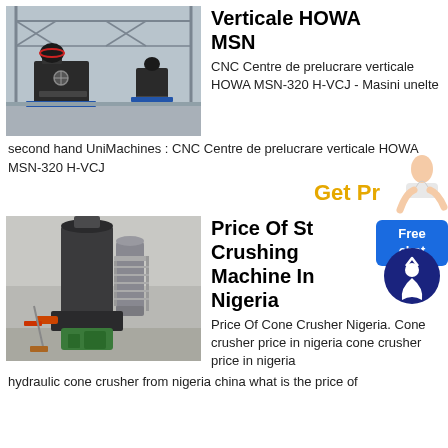[Figure (photo): Industrial CNC vertical machining center HOWA MSN-320 H-VCJ machines in a factory setting with structural steel framework]
Verticale HOWA MSN
CNC Centre de prelucrare verticale HOWA MSN-320 H-VCJ - Masini unelte second hand UniMachines : CNC Centre de prelucrare verticale HOWA MSN-320 H-VCJ
Get Pr
[Figure (photo): Large industrial stone crushing machine / cone crusher installed in a factory in Nigeria, with heavy ductwork and machinery components visible]
Price Of Stone Crushing Machine In Nigeria
Price Of Cone Crusher Nigeria. Cone crusher price in nigeria cone crusher price in nigeria hydraulic cone crusher from nigeria china what is the price of